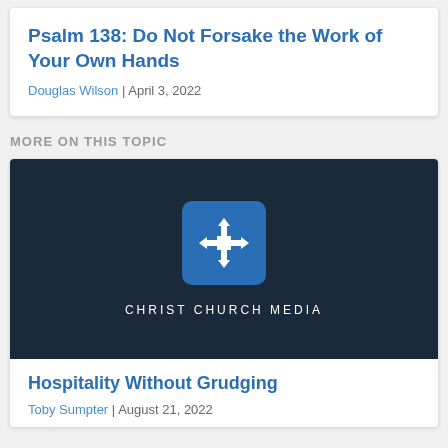Psalm 138: Do Not Forsake the Work of Your Own Hands
Douglas Wilson | April 3, 2022
MORE ON THIS TOPIC
[Figure (logo): Christ Church Media logo: a dark navy background with a blue rounded-square containing a white four-directional arrow/cross icon, with text 'CHRIST CHURCH MEDIA' below in white spaced capitals.]
Hospitality Without Grudging
Toby Sumpter | August 21, 2022